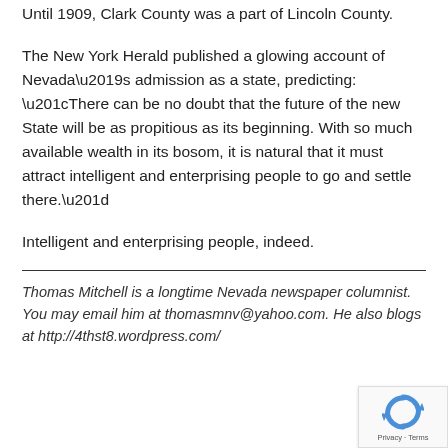Until 1909, Clark County was a part of Lincoln County.
The New York Herald published a glowing account of Nevada’s admission as a state, predicting: “There can be no doubt that the future of the new State will be as propitious as its beginning. With so much available wealth in its bosom, it is natural that it must attract intelligent and enterprising people to go and settle there.”
Intelligent and enterprising people, indeed.
Thomas Mitchell is a longtime Nevada newspaper columnist. You may email him at thomasmnv@yahoo.com. He also blogs at http://4thst8.wordpress.com/